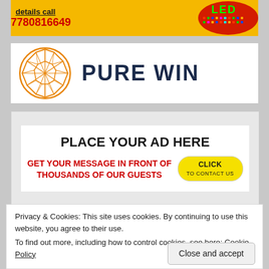[Figure (infographic): Yellow LED advertising banner with text 'details call 7780816649' and LED sign image on the right]
[Figure (logo): Pure Win logo: orange diamond geometric shape with text PURE WIN in dark navy blue]
[Figure (infographic): Ad placeholder: white box on grey background reading PLACE YOUR AD HERE, GET YOUR MESSAGE IN FRONT OF THOUSANDS OF OUR GUESTS, with yellow CLICK TO CONTACT US button]
Privacy & Cookies: This site uses cookies. By continuing to use this website, you agree to their use.
To find out more, including how to control cookies, see here: Cookie Policy
Close and accept